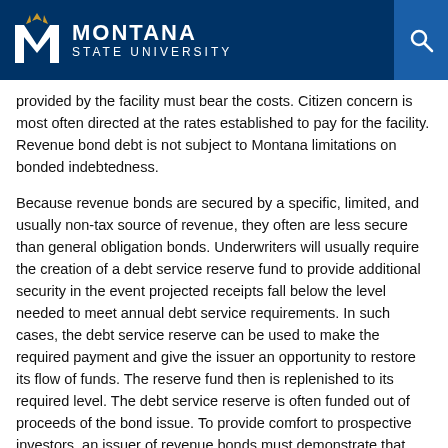Montana State University
provided by the facility must bear the costs. Citizen concern is most often directed at the rates established to pay for the facility. Revenue bond debt is not subject to Montana limitations on bonded indebtedness.
Because revenue bonds are secured by a specific, limited, and usually non-tax source of revenue, they often are less secure than general obligation bonds. Underwriters will usually require the creation of a debt service reserve fund to provide additional security in the event projected receipts fall below the level needed to meet annual debt service requirements. In such cases, the debt service reserve can be used to make the required payment and give the issuer an opportunity to restore its flow of funds. The reserve fund then is replenished to its required level. The debt service reserve is often funded out of proceeds of the bond issue. To provide comfort to prospective investors, an issuer of revenue bonds must demonstrate that sufficient funds will be available to make principal and interest payments in a timely manner. This is done by offering a promise (or covenant) to maintain system rates and charges at a level